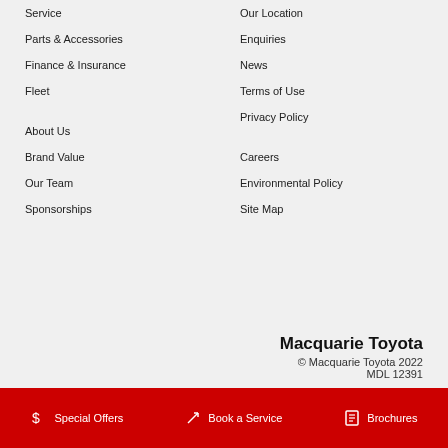Service
Parts & Accessories
Finance & Insurance
Fleet
About Us
Brand Value
Our Team
Sponsorships
Our Location
Enquiries
News
Terms of Use
Privacy Policy
Careers
Environmental Policy
Site Map
Macquarie Toyota
© Macquarie Toyota 2022
MDL 12391
Special Offers   Book a Service   Brochures